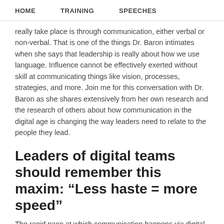HOME   TRAINING   SPEECHES
really take place is through communication, either verbal or non-verbal. That is one of the things Dr. Baron intimates when she says that leadership is really about how we use language. Influence cannot be effectively exerted without skill at communicating things like vision, processes, strategies, and more. Join me for this conversation with Dr. Baron as she shares extensively from her own research and the research of others about how communication in the digital age is changing the way leaders need to relate to the people they lead.
Leaders of digital teams should remember this maxim: “Less haste = more speed”
The rapid pace at which communication happens via digital means pushes all of us into a mindset where immediate responses and multitasking seem to be mandatory. But Dr.